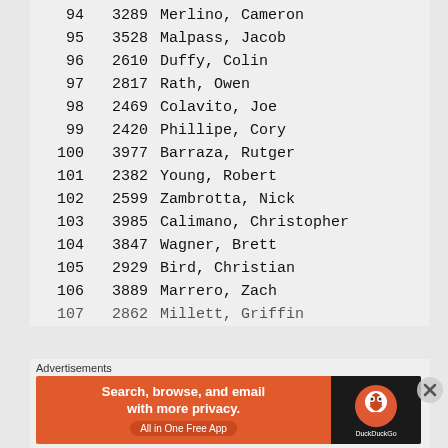| Rank | Number | Name |
| --- | --- | --- |
| 94 | 3289 | Merlino, Cameron |
| 95 | 3528 | Malpass, Jacob |
| 96 | 2610 | Duffy, Colin |
| 97 | 2817 | Rath, Owen |
| 98 | 2469 | Colavito, Joe |
| 99 | 2420 | Phillipe, Cory |
| 100 | 3977 | Barraza, Rutger |
| 101 | 2382 | Young, Robert |
| 102 | 2599 | Zambrotta, Nick |
| 103 | 3985 | Calimano, Christopher |
| 104 | 3847 | Wagner, Brett |
| 105 | 2929 | Bird, Christian |
| 106 | 3889 | Marrero, Zach |
| 107 | 2862 | Millett, Griffin |
Advertisements
[Figure (screenshot): DuckDuckGo advertisement banner: Search, browse, and email with more privacy. All in One Free App]